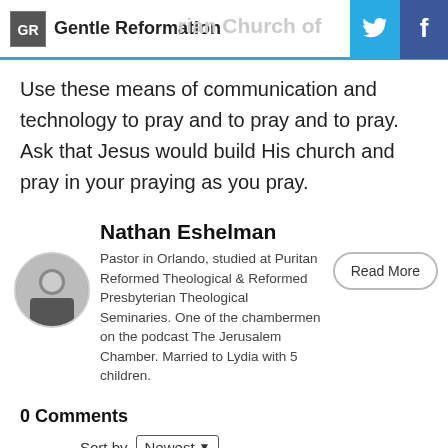Gentle Reformation
Use these means of communication and technology to pray and to pray and to pray. Ask that Jesus would build His church and pray in your praying as you pray.
Nathan Eshelman
Pastor in Orlando, studied at Puritan Reformed Theological & Reformed Presbyterian Theological Seminaries. One of the chambermen on the podcast The Jerusalem Chamber. Married to Lydia with 5 children.
0 Comments
Sort by Newest